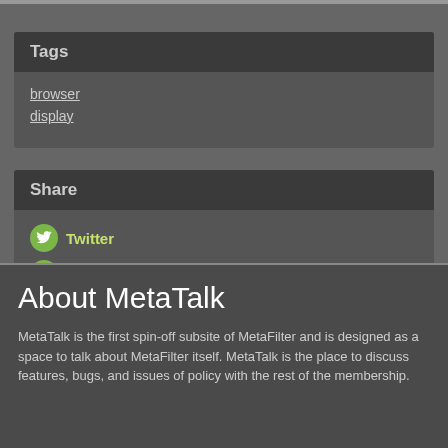Tags
browser
display
Share
Twitter
Facebook
About MetaTalk
MetaTalk is the first spin-off subsite of MetaFilter and is designed as a space to talk about MetaFilter itself. MetaTalk is the place to discuss features, bugs, and issues of policy with the rest of the membership.